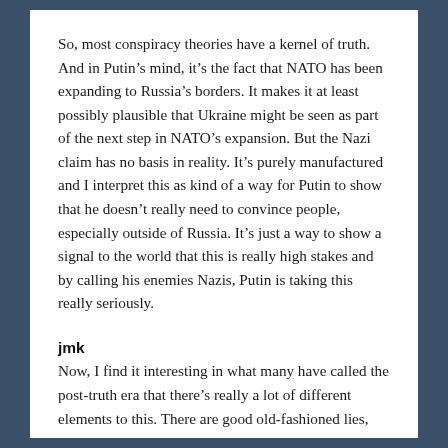So, most conspiracy theories have a kernel of truth. And in Putin's mind, it's the fact that NATO has been expanding to Russia's borders. It makes it at least possibly plausible that Ukraine might be seen as part of the next step in NATO's expansion. But the Nazi claim has no basis in reality. It's purely manufactured and I interpret this as kind of a way for Putin to show that he doesn't really need to convince people, especially outside of Russia. It's just a way to show a signal to the world that this is really high stakes and by calling his enemies Nazis, Putin is taking this really seriously.
jmk
Now, I find it interesting in what many have called the post-truth era that there's really a lot of different elements to this. There are good old-fashioned lies,